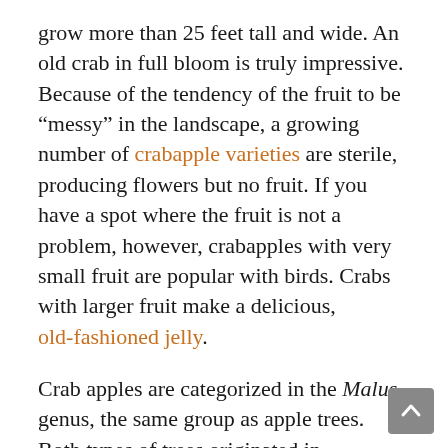grow more than 25 feet tall and wide. An old crab in full bloom is truly impressive. Because of the tendency of the fruit to be “messy” in the landscape, a growing number of crabapple varieties are sterile, producing flowers but no fruit. If you have a spot where the fruit is not a problem, however, crabapples with very small fruit are popular with birds. Crabs with larger fruit make a delicious, old-fashioned jelly.
Crab apples are categorized in the Malus genus, the same group as apple trees. Both types of trees originated in Kazakhstan. The main difference seems to be the size of the fruit (it must be more than 2 inches across to be an apple) and the sweetness, because crabs are puckery indeed. The wide variety of types of crabapples in North America came about as a result of mad hybridizing in the 18th and 19th centuries to create fruit that produced tasty hard cider.